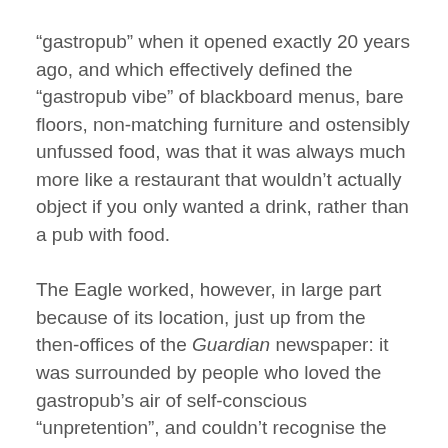“gastropub” when it opened exactly 20 years ago, and which effectively defined the “gastropub vibe” of blackboard menus, bare floors, non-matching furniture and ostensibly unfussed food, was that it was always much more like a restaurant that wouldn’t actually object if you only wanted a drink, rather than a pub with food.
The Eagle worked, however, in large part because of its location, just up from the then-offices of the Guardian newspaper: it was surrounded by people who loved the gastropub’s air of self-conscious “unpretention”, and couldn’t recognise the self-conscious part. The take-off of the concept was slow: the Oxford English Dictionary only records the actual word “gastropub” from 1996, and the vast Lexis-Nexis database doesn’t find any examples in magazines or newspapers until the following year, six years after the Eagle had landed. But